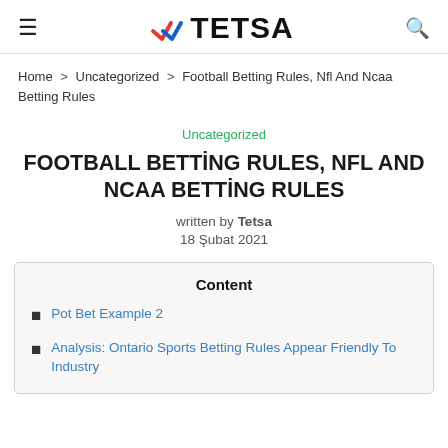TETSA
Home > Uncategorized > Football Betting Rules, Nfl And Ncaa Betting Rules
Uncategorized
FOOTBALL BETTING RULES, NFL AND NCAA BETTING RULES
written by Tetsa
18 Şubat 2021
Content
Pot Bet Example 2
Analysis: Ontario Sports Betting Rules Appear Friendly To Industry